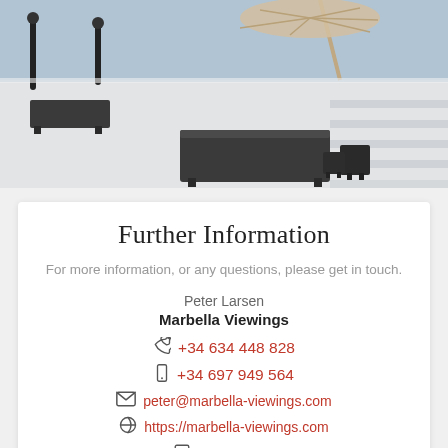[Figure (photo): Outdoor pool area with black sun loungers and parasol on a light-colored terrace]
Further Information
For more information, or any questions, please get in touch.
Peter Larsen
Marbella Viewings
+34 634 448 828
+34 697 949 564
peter@marbella-viewings.com
https://marbella-viewings.com
Contact Us